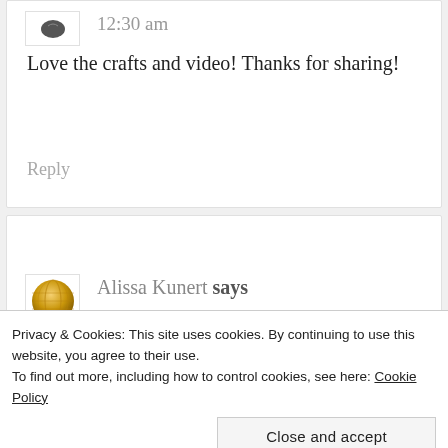12:30 am
Love the crafts and video! Thanks for sharing!
Reply
Alissa Kunert says
October 20, 2014 at
Privacy & Cookies: This site uses cookies. By continuing to use this website, you agree to their use.
To find out more, including how to control cookies, see here: Cookie Policy
Close and accept